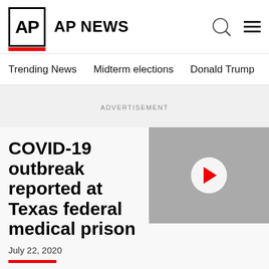AP NEWS
Trending News  Midterm elections  Donald Trump  Russia-Ukr
ADVERTISEMENT
COVID-19 outbreak reported at Texas federal medical prison
July 22, 2020
FORT WORTH, Texas (AP) — Mo... a federal medical prison in Texas h...